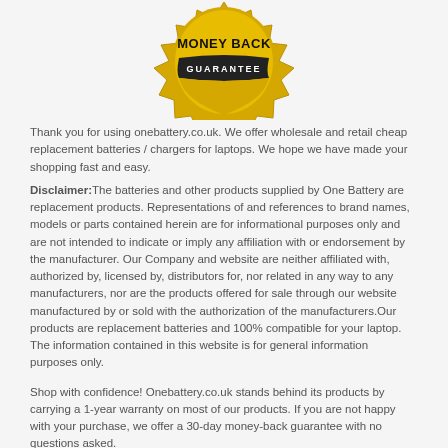[Figure (illustration): Money Back Guarantee badge/seal - gold colored shield/star shape with bold text MONEY BACK on top and GUARANTEE on a black ribbon banner below]
Thank you for using onebattery.co.uk. We offer wholesale and retail cheap replacement batteries / chargers for laptops. We hope we have made your shopping fast and easy.
Disclaimer:The batteries and other products supplied by One Battery are replacement products. Representations of and references to brand names, models or parts contained herein are for informational purposes only and are not intended to indicate or imply any affiliation with or endorsement by the manufacturer. Our Company and website are neither affiliated with, authorized by, licensed by, distributors for, nor related in any way to any manufacturers, nor are the products offered for sale through our website manufactured by or sold with the authorization of the manufacturers.Our products are replacement batteries and 100% compatible for your laptop. The information contained in this website is for general information purposes only.
Shop with confidence! Onebattery.co.uk stands behind its products by carrying a 1-year warranty on most of our products. If you are not happy with your purchase, we offer a 30-day money-back guarantee with no questions asked.
POPULAR CATEGORIES